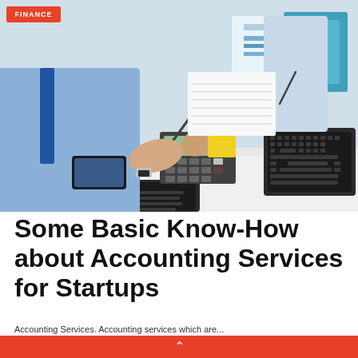[Figure (photo): Two business professionals reviewing financial documents and using a calculator at a desk with laptops, notebooks, charts, and office supplies.]
Some Basic Know-How about Accounting Services for Startups
BY: HILARY BRUECK   DECEMBER 27, 2018
Accounting Services. Accounting services which are...